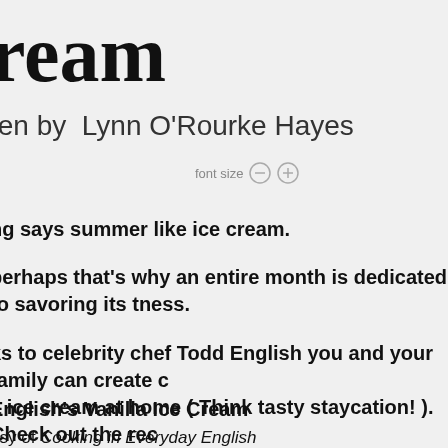ream
ten by  Lynn O'Rourke Hayes
font size
ng says summer like ice cream.
perhaps that's why an entire month is dedicated to savoring its tness.
ks to celebrity chef Todd English you and your family can create c a ice cream at home ( Think tasty staycation! ). Check out the rec from his most recent cookbook, Cooking in Everyday English!
English's Vanilla Ice Cream
esy of Cooking in Everyday English